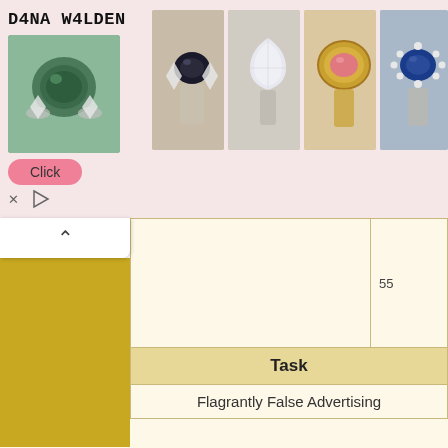[Figure (screenshot): Advertisement banner for Dana Walden jewelry featuring gemstone rings. Brand name 'DANA WALDEN' shown on left with a green gemstone ring thumbnail and a pink 'Click' button. Multiple ring photos shown to the right on pink background.]
| Task |
| --- |
| Flagrantly False Advertising |
Towne Centre at Springfielde
Main article: Towne Centre at Spr...